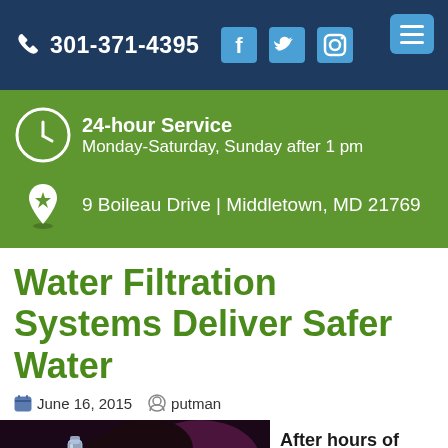301-371-4395
24-hour Service
Monday-Saturday, Sunday after 1 pm
9 Boileau Drive | Middletown, MD 21769
Water Filtration Systems Deliver Safer Water
June 16, 2015  putman
[Figure (photo): Person drinking water from a bottle]
After hours of yard work on a hot summer day,